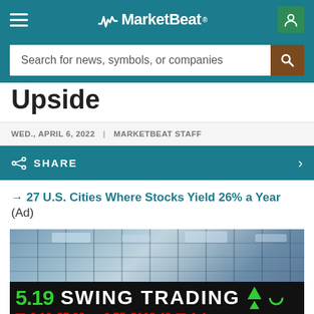MarketBeat
Search for news, symbols, or companies
Upside
WED., APRIL 6, 2022 | MARKETBEAT STAFF
SHARE
→ 27 U.S. Cities Where Stocks Yield 26% a Year (Ad)
[Figure (photo): Swing trading ticker display on a glass building facade showing stock prices: 5.19, SWING TRADING, green up triangles, red down arrows, $7.02, 0.75, $118.48, 0.10, 1.4]